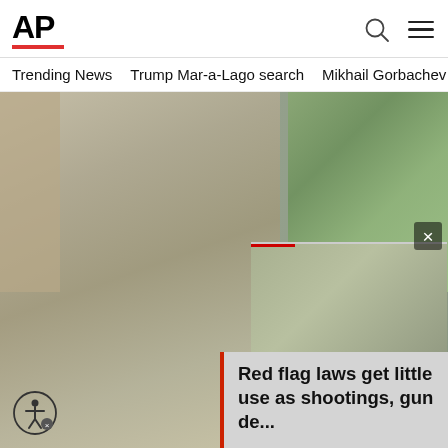AP
Trending News  Trump Mar-a-Lago search  Mikhail Gorbachev d
[Figure (photo): A police officer with hands clasped over face, walking past an overturned bicycle and stroller on a sidewalk after a mass shooting. Items scattered on ground. A second photo overlay shows another officer kneeling.]
Red flag laws get little use as shootings, gun de...